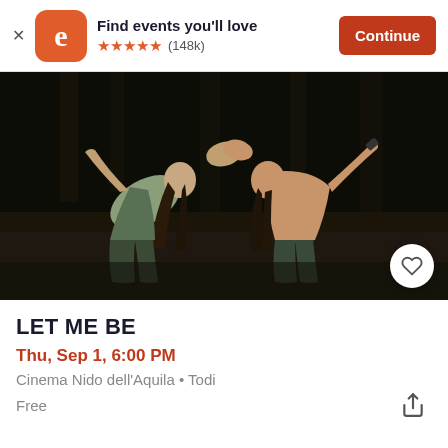Find events you'll love ★★★★★ (148k) Continue
[Figure (photo): Two dancers leaning back facing each other, dramatic lighting, dark background. One in a green top, one shirtless.]
LET ME BE
Thu, Sep 1, 6:00 PM
Cinema Nido dell'Aquila • Todi
Free